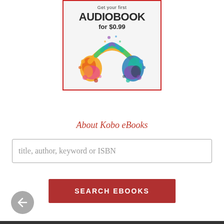[Figure (illustration): Advertisement banner with colorful paint-splash headphones and text 'Get your first AUDIOBOOK for $0.99', bordered in red]
About Kobo eBooks
title, author, keyword or ISBN
SEARCH EBOOKS